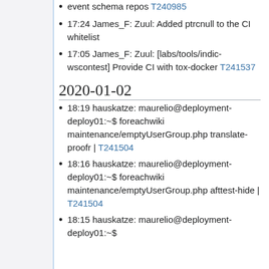event schema repos T240985
17:24 James_F: Zuul: Added ptrcnull to the CI whitelist
17:05 James_F: Zuul: [labs/tools/indic-wscontest] Provide CI with tox-docker T241537
2020-01-02
18:19 hauskatze: maurelio@deployment-deploy01:~$ foreachwiki maintenance/emptyUserGroup.php translate-proofr | T241504
18:16 hauskatze: maurelio@deployment-deploy01:~$ foreachwiki maintenance/emptyUserGroup.php afttest-hide | T241504
18:15 hauskatze: maurelio@deployment-deploy01:~$